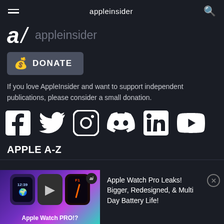appleinsider
[Figure (logo): AppleInsider logo with stylized 'ai' italic bold text and 'appleinsider' wordmark in gray]
[Figure (other): Donate button with money bag icon and DONATE label on dark gray background]
If you love AppleInsider and want to support independent publications, please consider a small donation.
[Figure (other): Social media icons row: Facebook, Twitter, Instagram, Discord, LinkedIn, YouTube]
APPLE A-Z
[Figure (screenshot): Promotional banner showing Apple Watch PRO!? video thumbnail with three watch faces and AI badge, alongside text: Apple Watch Pro Leaks! Bigger, Redesigned, & Multi Day Battery Life!]